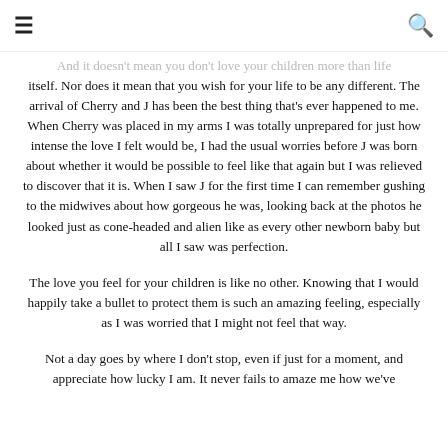≡ [menu icon] | [search icon]
And it doesn't mean you don't love your children more than life itself. Nor does it mean that you wish for your life to be any different. The arrival of Cherry and J has been the best thing that's ever happened to me. When Cherry was placed in my arms I was totally unprepared for just how intense the love I felt would be, I had the usual worries before J was born about whether it would be possible to feel like that again but I was relieved to discover that it is. When I saw J for the first time I can remember gushing to the midwives about how gorgeous he was, looking back at the photos he looked just as cone-headed and alien like as every other newborn baby but all I saw was perfection.
The love you feel for your children is like no other. Knowing that I would happily take a bullet to protect them is such an amazing feeling, especially as I was worried that I might not feel that way.
Not a day goes by where I don't stop, even if just for a moment, and appreciate how lucky I am. It never fails to amaze me how we've